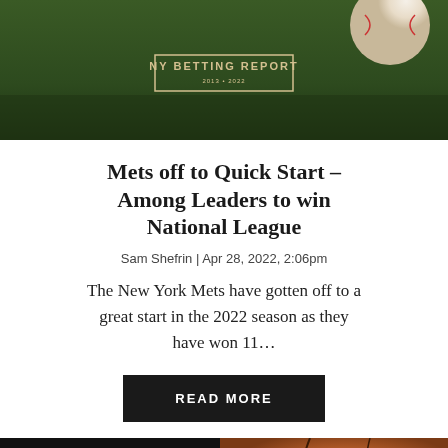[Figure (photo): Banner image of a baseball on a grass field with the NY Betting Report logo in the center]
Mets off to Quick Start – Among Leaders to win National League
Sam Shefrin | Apr 28, 2022, 2:06pm
The New York Mets have gotten off to a great start in the 2022 season as they have won 11…
READ MORE
[Figure (photo): Bottom banner image showing a basketball]